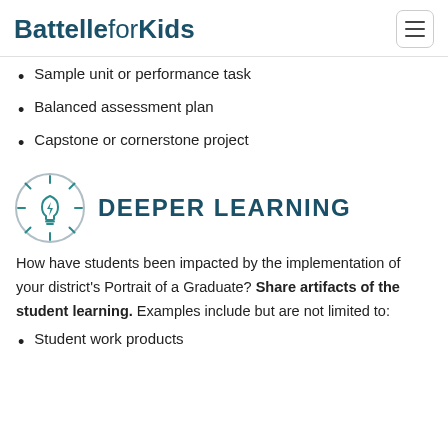BattelleforKids
Sample unit or performance task
Balanced assessment plan
Capstone or cornerstone project
[Figure (illustration): Lightbulb icon in a circle with teal color scheme representing Deeper Learning]
DEEPER LEARNING
How have students been impacted by the implementation of your district's Portrait of a Graduate? Share artifacts of the student learning. Examples include but are not limited to:
Student work products